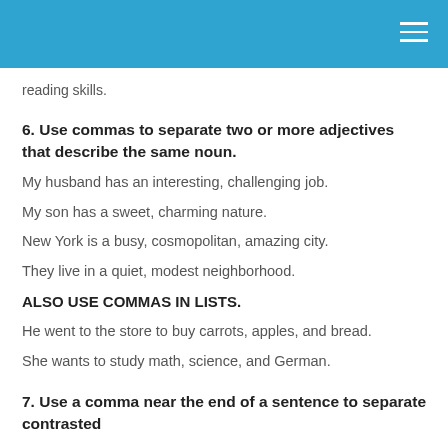reading skills.
6. Use commas to separate two or more adjectives that describe the same noun.
My husband has an interesting, challenging job.
My son has a sweet, charming nature.
New York is a busy, cosmopolitan, amazing city.
They live in a quiet, modest neighborhood.
ALSO USE COMMAS IN LISTS.
He went to the store to buy carrots, apples, and bread.
She wants to study math, science, and German.
7. Use a comma near the end of a sentence to separate contrasted